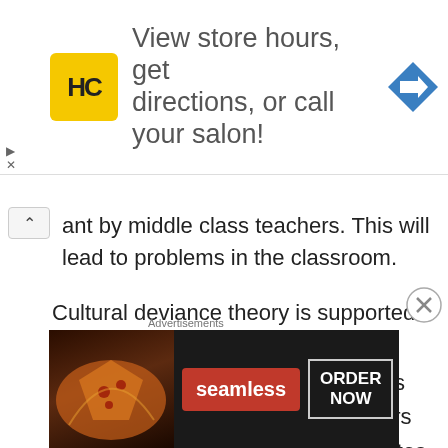[Figure (other): Advertisement banner: HC hair care logo, text 'View store hours, get directions, or call your salon!' with blue navigation arrow icon]
ant by middle class teachers. This will lead to problems in the classroom.
Cultural deviance theory is supported by at least two other theories. Differential association theory states that students learn deviant behaviors from others, and labeling theory states that those with power (teachers) determine acceptable behavior. Gang culture is considered
[Figure (other): Seamless food delivery advertisement banner with pizza image, Seamless logo, and ORDER NOW button]